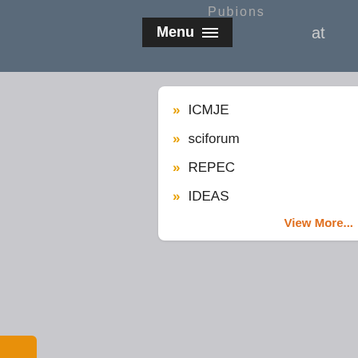Menu | Pubions | at
ICMJE
sciforum
REPEC
IDEAS
View More...
Tweets from @lupine_online
Lupine Publis... @lupi... · Aug 22
Risk Factors for Severe Hemorrhage Requiring Blood Transfusion Associated With